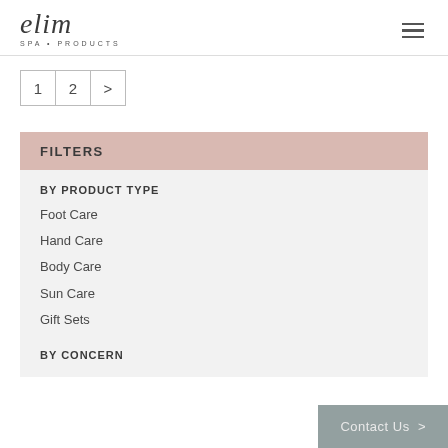elim SPA • PRODUCTS
1  2  >
FILTERS
BY PRODUCT TYPE
Foot Care
Hand Care
Body Care
Sun Care
Gift Sets
BY CONCERN
Contact Us >